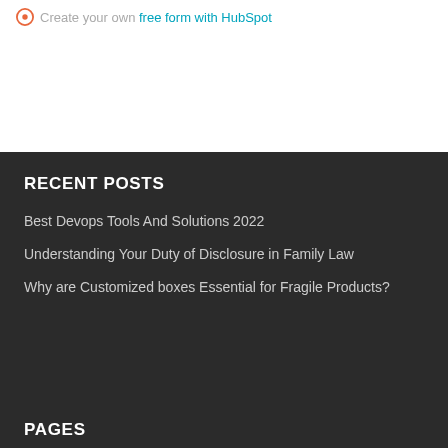Create your own free form with HubSpot
RECENT POSTS
Best Devops Tools And Solutions 2022
Understanding Your Duty of Disclosure in Family Law
Why are Customized boxes Essential for Fragile Products?
PAGES